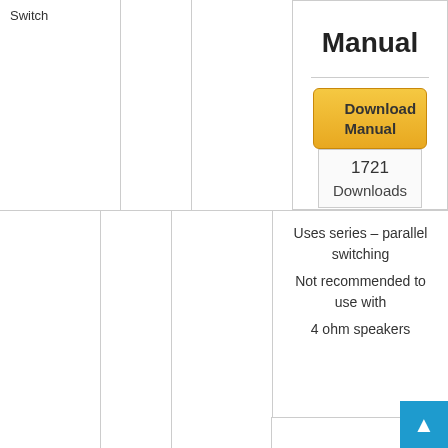Switch
Manual
Download Manual
1721 Downloads
Uses series – parallel switching
Not recommended to use with
4 ohm speakers